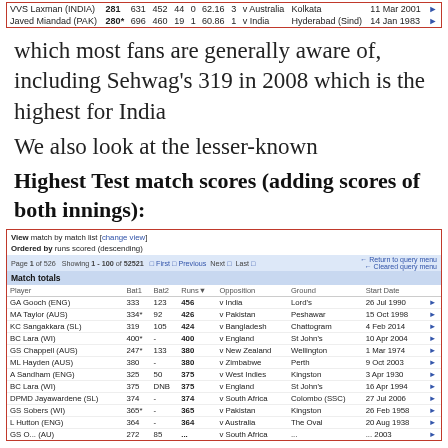| Player |  | Runs | Balls | Mins | 4s | 6s | SR | Inns | Opposition | Ground | Start Date |  |
| --- | --- | --- | --- | --- | --- | --- | --- | --- | --- | --- | --- | --- |
| VVS Laxman (INDIA) | 281 | 631 | 452 | 44 | 0 | 62.16 | 3 | v Australia | Kolkata | 11 Mar 2001 | ▶ |
| Javed Miandad (PAK) | 280* | 696 | 460 | 19 | 1 | 60.86 | 1 | v India | Hyderabad (Sind) | 14 Jan 1983 | ▶ |
which most fans are generally aware of, including Sehwag's 319 in 2008 which is the highest for India
We also look at the lesser-known
Highest Test match scores (adding scores of both innings):
| Player | Bat1 | Bat2 | Runs | Opposition | Ground | Start Date |  |
| --- | --- | --- | --- | --- | --- | --- | --- |
| GA Gooch (ENG) | 333 | 123 | 456 | v India | Lord's | 26 Jul 1990 | ▶ |
| MA Taylor (AUS) | 334* | 92 | 426 | v Pakistan | Peshawar | 15 Oct 1998 | ▶ |
| KC Sangakkara (SL) | 319 | 105 | 424 | v Bangladesh | Chattogram | 4 Feb 2014 | ▶ |
| BC Lara (WI) | 400* | - | 400 | v England | St John's | 10 Apr 2004 | ▶ |
| GS Chappell (AUS) | 247* | 133 | 380 | v New Zealand | Wellington | 1 Mar 1974 | ▶ |
| ML Hayden (AUS) | 380 | - | 380 | v Zimbabwe | Perth | 9 Oct 2003 | ▶ |
| A Sandham (ENG) | 325 | 50 | 375 | v West Indies | Kingston | 3 Apr 1930 | ▶ |
| BC Lara (WI) | 375 | DNB | 375 | v England | St John's | 16 Apr 1994 | ▶ |
| DPMD Jayawardene (SL) | 374 | - | 374 | v South Africa | Colombo (SSC) | 27 Jul 2006 | ▶ |
| GS Sobers (WI) | 365* | - | 365 | v Pakistan | Kingston | 26 Feb 1958 | ▶ |
| L Hutton (ENG) | 364 | - | 364 | v Australia | The Oval | 20 Aug 1938 | ▶ |
| GS O... (AU) | 272 | 85 | ... | v South Africa | ... | ... 2003 | ▶ |